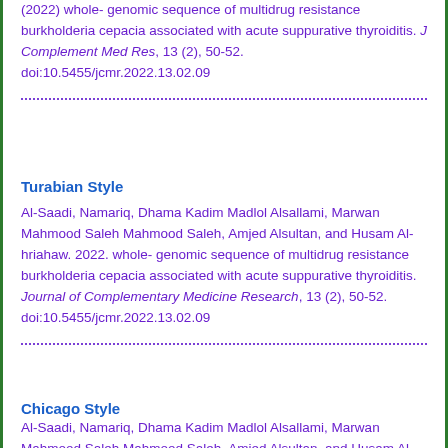(2022) whole- genomic sequence of multidrug resistance burkholderia cepacia associated with acute suppurative thyroiditis. J Complement Med Res, 13 (2), 50-52. doi:10.5455/jcmr.2022.13.02.09
Turabian Style
Al-Saadi, Namariq, Dhama Kadim Madlol Alsallami, Marwan Mahmood Saleh Mahmood Saleh, Amjed Alsultan, and Husam Al-hriahaw. 2022. whole- genomic sequence of multidrug resistance burkholderia cepacia associated with acute suppurative thyroiditis. Journal of Complementary Medicine Research, 13 (2), 50-52. doi:10.5455/jcmr.2022.13.02.09
Chicago Style
Al-Saadi, Namariq, Dhama Kadim Madlol Alsallami, Marwan Mahmood Saleh Mahmood Saleh, Amjed Alsultan, and Husam Al-hriahaw. "whole- genomic sequence of multidrug resistance burkholderia